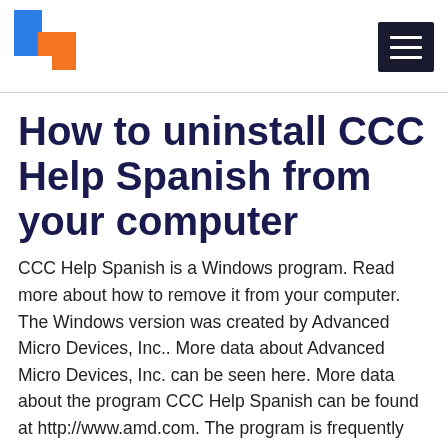[Figure (logo): Website logo with blue and orange overlapping squares on left, hamburger menu icon (black square with three white lines) on right]
How to uninstall CCC Help Spanish from your computer
CCC Help Spanish is a Windows program. Read more about how to remove it from your computer. The Windows version was created by Advanced Micro Devices, Inc.. More data about Advanced Micro Devices, Inc. can be seen here. More data about the program CCC Help Spanish can be found at http://www.amd.com. The program is frequently found in the C:\Program Files (x86)\ATI Technologies directory. Take into account that this